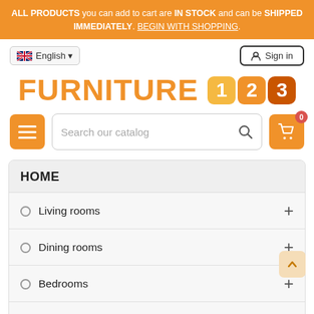ALL PRODUCTS you can add to cart are IN STOCK and can be SHIPPED IMMEDIATELY. BEGIN WITH SHOPPING.
English
Sign in
[Figure (logo): FURNITURE 123 logo with orange text and numbered badge icons]
Search our catalog
HOME
Living rooms
Dining rooms
Bedrooms
Halls